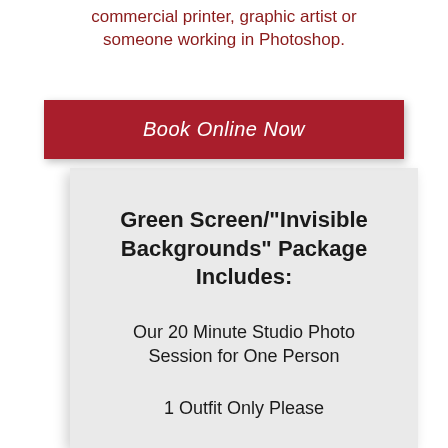commercial printer, graphic artist or someone working in Photoshop.
Book Online Now
Green Screen/"Invisible Backgrounds" Package Includes:
Our 20 Minute Studio Photo Session for One Person
1 Outfit Only Please
Online Proofing and Selection